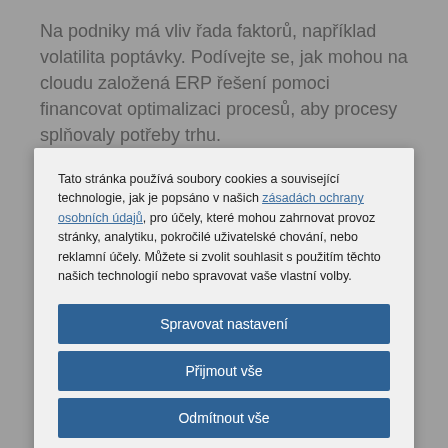Na podniky má vliv řada faktorů, například volatilita poptávky. Podívejte se, jak mohou na cloudu založená ERP řešení pomoci financovat optimalizaci procesů, aby procesy splňovaly potřeby trhu.
Přečíst příčinu >
Tato stránka používá soubory cookies a související technologie, jak je popsáno v našich zásadách ochrany osobních údajů, pro účely, které mohou zahrnovat provoz stránky, analytiku, pokročilé uživatelské chování, nebo reklamní účely. Můžete si zvolit souhlasit s použitím těchto našich technologií nebo spravovat vaše vlastní volby.
Spravovat nastavení
Přijmout vše
Odmítnout vše
Prohlášení o souborech cookies